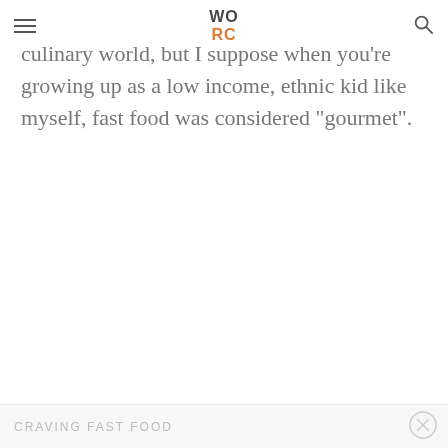WO RC
culinary world, but I suppose when you're growing up as a low income, ethnic kid like myself, fast food was considered “gourmet”.
CRAVING FAST FOOD